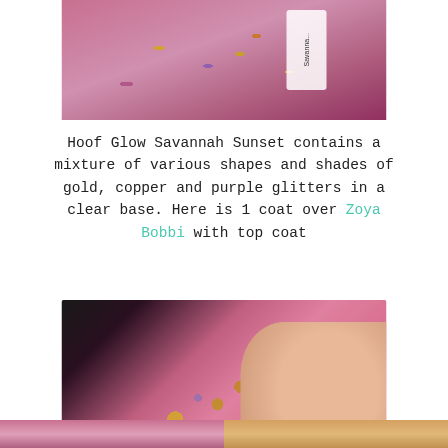[Figure (photo): Close-up photo of nail polish bottles with glittery pink, gold, copper and purple finish]
Hoof Glow Savannah Sunset contains a mixture of various shapes and shades of gold, copper and purple glitters in a clear base. Here is 1 coat over Zoya Bobbi with top coat
[Figure (photo): Close-up macro photo of hand with nails painted in pink base with gold, copper and purple chunky glitter topper (Hoof Glow Savannah Sunset over Zoya Bobbi)]
[Figure (photo): Bottom strip showing partial cropped nail photos with glitter polish]